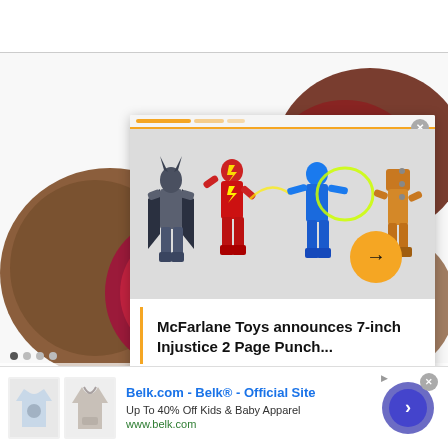[Figure (screenshot): Background photo of red/purple beets cut open showing interior, on white background]
[Figure (screenshot): Popup card overlay showing McFarlane action figures (Batman, The Flash, Blue Beetle, and others) on gray background with orange arrow button and three-dot menu]
McFarlane Toys announces 7-inch Injustice 2 Page Punch...
[Figure (screenshot): Advertisement banner for Belk.com showing children's clothing items (t-shirt and hoodie), ad text, and circular CTA button]
Belk.com - Belk® - Official Site
Up To 40% Off Kids & Baby Apparel
www.belk.com